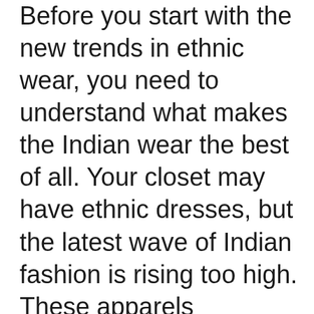Before you start with the new trends in ethnic wear, you need to understand what makes the Indian wear the best of all. Your closet may have ethnic dresses, but the latest wave of Indian fashion is rising too high. These apparels underwent continuing changes and remained the first choice for modern women. Here's the set of some new trends you need to introduce to your wardrobe to suit the unique needs of any event. This series is selected deliberately and thoughtfully to give you a look which is